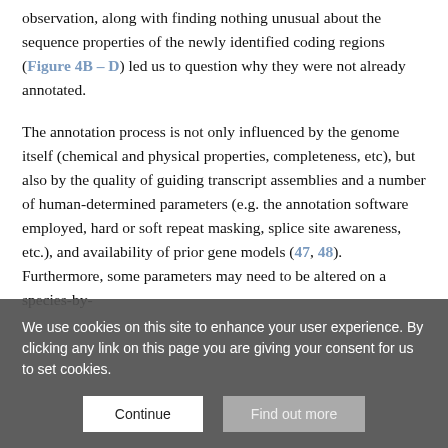observation, along with finding nothing unusual about the sequence properties of the newly identified coding regions (Figure 4B – D) led us to question why they were not already annotated.
The annotation process is not only influenced by the genome itself (chemical and physical properties, completeness, etc), but also by the quality of guiding transcript assemblies and a number of human-determined parameters (e.g. the annotation software employed, hard or soft repeat masking, splice site awareness, etc.), and availability of prior gene models (47, 48). Furthermore, some parameters may need to be altered on a species-by-
We use cookies on this site to enhance your user experience. By clicking any link on this page you are giving your consent for us to set cookies.
Continue | Find out more